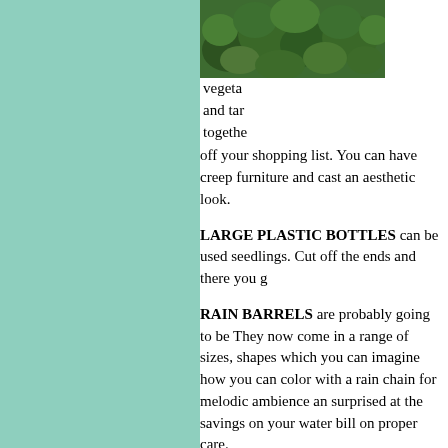[Figure (photo): Green leafy vegetable plants growing in a garden]
vegetable and tar together off your shopping list. You can have creep furniture and cast an aesthetic look.
LARGE PLASTIC BOTTLES can be used seedlings. Cut off the ends and there you g
RAIN BARRELS are probably going to be They now come in a range of sizes, shapes which you can imagine how you can color with a rain chain for melodic ambience an surprised at the savings on your water bill on proper care.
SOAKER HOSES AND DRIP IRRIGATIO their delivery system sends water directly evaporation.
TRADITIONAL HEIRLOOM SEEDS a